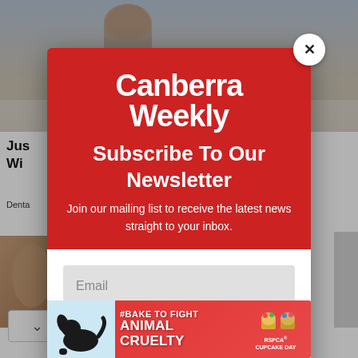[Figure (screenshot): Background webpage screenshot showing a news article with a photo of a person outdoors, partially obscured by a newsletter subscription modal overlay from Canberra Weekly.]
Canberra Weekly
Subscribe To Our Newsletter
Join our mailing list to receive the latest news straight to your inbox.
Email
SUBSCRIBE!
[Figure (infographic): Advertisement banner: #BAKE TO FIGHT ANIMAL CRUELTY - RSPCA's CUPCAKE DAY, with a dog image on the left and cupcake icons on the right.]